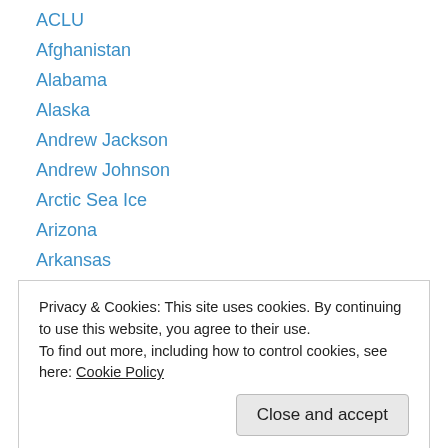ACLU
Afghanistan
Alabama
Alaska
Andrew Jackson
Andrew Johnson
Arctic Sea Ice
Arizona
Arkansas
Auto Industry
Barack Obama
Bill Clinton
Bipartisan
Privacy & Cookies: This site uses cookies. By continuing to use this website, you agree to their use. To find out more, including how to control cookies, see here: Cookie Policy
Civil Rights